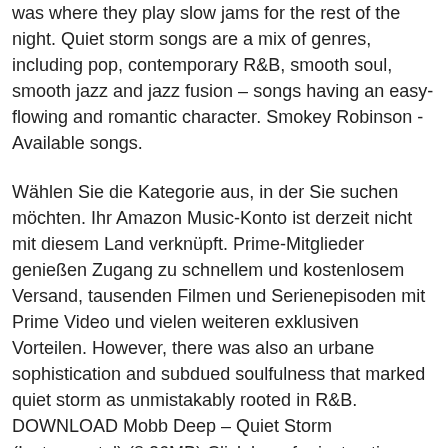was where they play slow jams for the rest of the night. Quiet storm songs are a mix of genres, including pop, contemporary R&B, smooth soul, smooth jazz and jazz fusion – songs having an easy-flowing and romantic character. Smokey Robinson - Available songs.
Wählen Sie die Kategorie aus, in der Sie suchen möchten. Ihr Amazon Music-Konto ist derzeit nicht mit diesem Land verknüpft. Prime-Mitglieder genießen Zugang zu schnellem und kostenlosem Versand, tausenden Filmen und Serienepisoden mit Prime Video und vielen weiteren exklusiven Vorteilen. However, there was also an urbane sophistication and subdued soulfulness that marked quiet storm as unmistakably rooted in R&B. DOWNLOAD Mobb Deep – Quiet Storm (Instrumental) (8.26MB) Click here for instructions on how to enable JavaScript in your browser. Activate alert. I've been trying to find it for a long time, like for years, and I've had no luck. John Legend) as made famous by Smokey Robinson is not available yet. Vocal Backing Track MP3 $1.99. The instrumental MP3 of Quiet Storm as made famous by Smokey Robinson is not available yet. Stattdessen betrachtet unser Syste